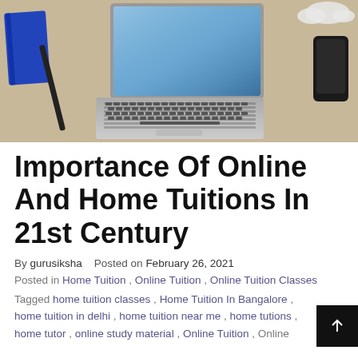[Figure (photo): Top-down view of an open MacBook laptop on a wooden desk, with a black smartphone to the right and a notebook and pen to the left.]
Importance Of Online And Home Tuitions In 21st Century
By gurusiksha    Posted on February 26, 2021
Posted in Home Tuition , Online Tuition , Online Tuition Classes
Tagged home tuition classes , Home Tuition In Bangalore , home tuition in delhi , home tuition near me , home tutions , home tutor , online study material , Online Tuition , Online